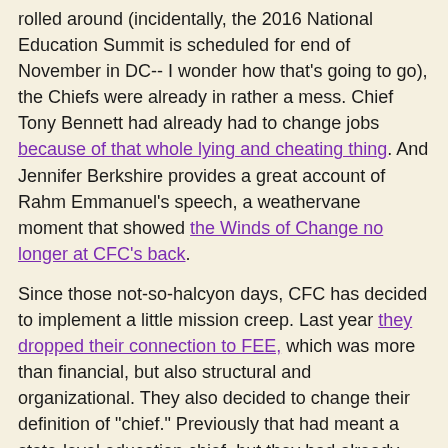rolled around (incidentally, the 2016 National Education Summit is scheduled for end of November in DC-- I wonder how that's going to go), the Chiefs were already in rather a mess. Chief Tony Bennett had already had to change jobs because of that whole lying and cheating thing. And Jennifer Berkshire provides a great account of Rahm Emmanuel's speech, a weathervane moment that showed the Winds of Change no longer at CFC's back.
Since those not-so-halcyon days, CFC has decided to implement a little mission creep. Last year they dropped their connection to FEE, which was more than financial, but also structural and organizational. They also decided to change their definition of "chief." Previously that had meant a state-level education chief, but they had already developed a problem in that department. If we scan the list of the current seventeen CFC members, we find these:
Chris Barbic: Former Superintendent of the Achievement School District, Tennessee
Dale Erquiaga: Former Superintendent of Public Instruction, Nevada